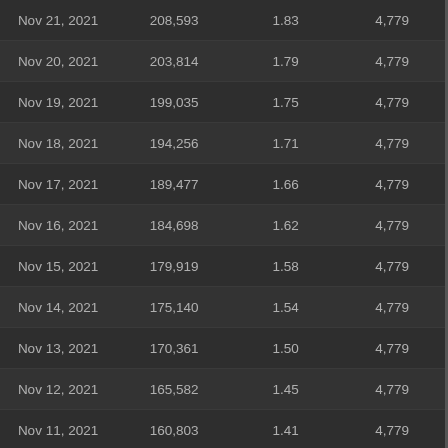| Nov 21, 2021 | 208,593 | 1.83 | 4,779 |
| Nov 20, 2021 | 203,814 | 1.79 | 4,779 |
| Nov 19, 2021 | 199,035 | 1.75 | 4,779 |
| Nov 18, 2021 | 194,256 | 1.71 | 4,779 |
| Nov 17, 2021 | 189,477 | 1.66 | 4,779 |
| Nov 16, 2021 | 184,698 | 1.62 | 4,779 |
| Nov 15, 2021 | 179,919 | 1.58 | 4,779 |
| Nov 14, 2021 | 175,140 | 1.54 | 4,779 |
| Nov 13, 2021 | 170,361 | 1.50 | 4,779 |
| Nov 12, 2021 | 165,582 | 1.45 | 4,779 |
| Nov 11, 2021 | 160,803 | 1.41 | 4,779 |